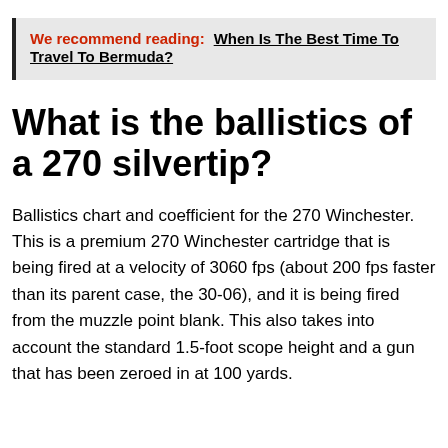We recommend reading:  When Is The Best Time To Travel To Bermuda?
What is the ballistics of a 270 silvertip?
Ballistics chart and coefficient for the 270 Winchester. This is a premium 270 Winchester cartridge that is being fired at a velocity of 3060 fps (about 200 fps faster than its parent case, the 30-06), and it is being fired from the muzzle point blank. This also takes into account the standard 1.5-foot scope height and a gun that has been zeroed in at 100 yards.